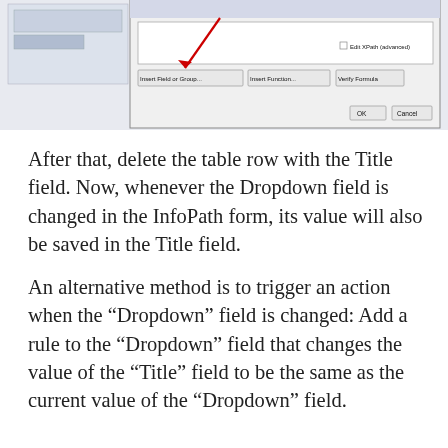[Figure (screenshot): Screenshot of a dialog box showing Insert Field or Group, Insert Function, Verify Formula buttons and a red arrow pointing to Insert Field or Group button, with OK and Cancel buttons and Edit XPath (advanced) checkbox.]
After that, delete the table row with the Title field. Now, whenever the Dropdown field is changed in the InfoPath form, its value will also be saved in the Title field.
An alternative method is to trigger an action when the “Dropdown” field is changed: Add a rule to the “Dropdown” field that changes the value of the “Title” field to be the same as the current value of the “Dropdown” field.